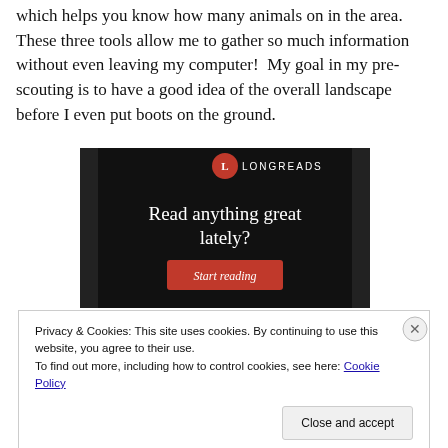which helps you know how many animals on in the area.  These three tools allow me to gather so much information without even leaving my computer!  My goal in my pre-scouting is to have a good idea of the overall landscape before I even put boots on the ground.
[Figure (screenshot): Longreads advertisement banner on black background with logo, text 'Read anything great lately?' and red 'Start reading' button]
Privacy & Cookies: This site uses cookies. By continuing to use this website, you agree to their use.
To find out more, including how to control cookies, see here: Cookie Policy
Close and accept